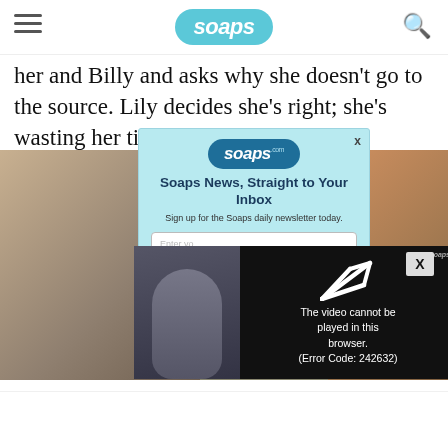soaps (logo)
her and Billy and asks why she doesn’t go to the source. Lily decides she’s right; she’s wasting her time with her.
[Figure (screenshot): Email signup popup overlay with Soaps.com logo, headline 'Soaps News, Straight to Your Inbox', subtext 'Sign up for the Soaps daily newsletter today.', email input field, and submit button.]
[Figure (screenshot): Video player overlay showing error message: 'The video cannot be played in this browser. (Error Code: 242632)' with a play icon arrow graphic on black background.]